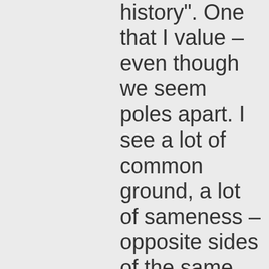history". One that I value – even though we seem poles apart. I see a lot of common ground, a lot of sameness – opposite sides of the same coin – like anger and love maybe.

So thank you. Your support